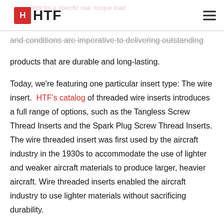HTF — logo header with navigation
from when it comes to your manufacturing needs.
and conditions are imperative to delivering outstanding products that are durable and long-lasting.
Today, we're featuring one particular insert type: The wire insert. HTF's catalog of threaded wire inserts introduces a full range of options, such as the Tangless Screw Thread Inserts and the Spark Plug Screw Thread Inserts. The wire threaded insert was first used by the aircraft industry in the 1930s to accommodate the use of lighter and weaker aircraft materials to produce larger, heavier aircraft. Wire threaded inserts enabled the aircraft industry to use lighter materials without sacrificing durability.